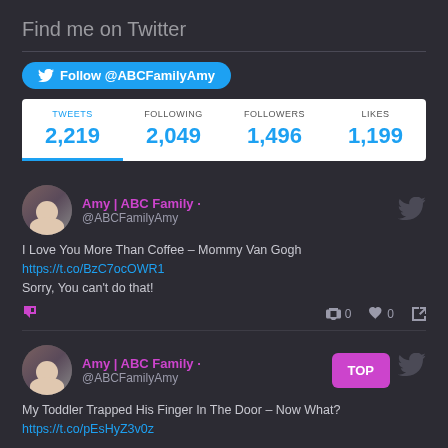Find me on Twitter
[Figure (screenshot): Twitter follow button for @ABCFamilyAmy]
| TWEETS | FOLLOWING | FOLLOWERS | LIKES |
| --- | --- | --- | --- |
| 2,219 | 2,049 | 1,496 | 1,199 |
Amy | ABC Family @ABCFamilyAmy
I Love You More Than Coffee – Mommy Van Gogh https://t.co/BzC7ocOWR1 Sorry, You can't do that!
Amy | ABC Family @ABCFamilyAmy
My Toddler Trapped His Finger In The Door – Now What? https://t.co/pEsHyZ3v0z